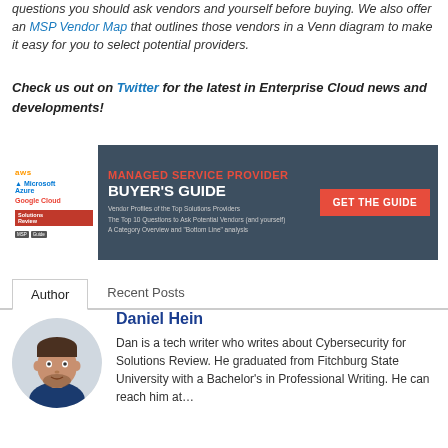questions you should ask vendors and yourself before buying. We also offer an MSP Vendor Map that outlines those vendors in a Venn diagram to make it easy for you to select potential providers.
Check us out on Twitter for the latest in Enterprise Cloud news and developments!
[Figure (infographic): Advertisement banner for Managed Service Provider Buyer's Guide featuring AWS, Microsoft Azure, Google Cloud logos, red GET THE GUIDE button, and bullet points about vendor profiles, top 10 questions, and category overview.]
Author | Recent Posts tabs
Daniel Hein
Dan is a tech writer who writes about Cybersecurity for Solutions Review. He graduated from Fitchburg State University with a Bachelor's in Professional Writing. He can reach him at...